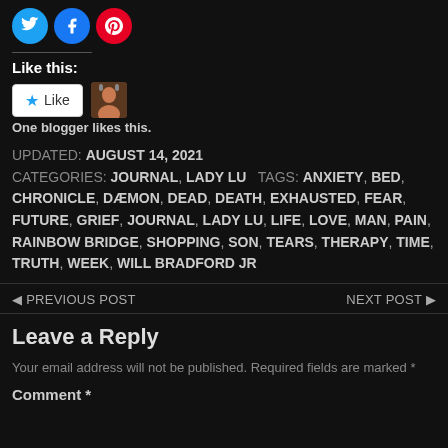[Figure (other): Social share icons: Twitter (blue circle), Facebook (blue circle), Pinterest (red circle)]
Like this:
[Figure (other): Like button widget with star icon and a blogger avatar thumbnail. Shows 'One blogger likes this.']
One blogger likes this.
UPDATED: August 14, 2021
CATEGORIES: JOURNAL, LADY LU   TAGS: ANXIETY, BED, CHRONICLE, DÆMON, DEAD, DEATH, EXHAUSTED, FEAR, FUTURE, GRIEF, JOURNAL, LADY LU, LIFE, LOVE, MAN, PAIN, RAINBOW BRIDGE, SHOPPING, SON, TEARS, THERAPY, TIME, TRUTH, WEEK, WILL BRADFORD JR
◄ PREVIOUS POST    NEXT POST ►
Leave a Reply
Your email address will not be published. Required fields are marked *
Comment *